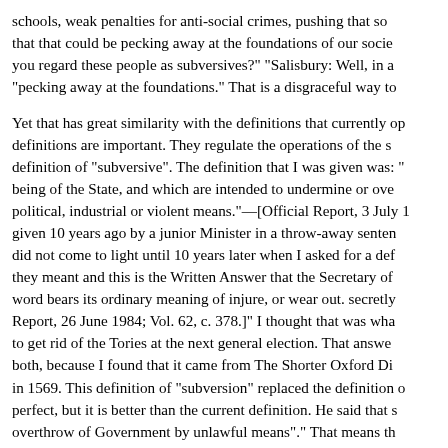schools, weak penalties for anti-social crimes, pushing that so that that could be pecking away at the foundations of our socie you regard these people as subversives?" "Salisbury: Well, in a "pecking away at the foundations." That is a disgraceful way to
Yet that has great similarity with the definitions that currently op definitions are important. They regulate the operations of the s definition of "subversive". The definition that I was given was: " being of the State, and which are intended to undermine or ove political, industrial or violent means."—[Official Report, 3 July 1 given 10 years ago by a junior Minister in a throw-away senten did not come to light until 10 years later when I asked for a def they meant and this is the Written Answer that the Secretary of word bears its ordinary meaning of injure, or wear out. secretly Report, 26 June 1984; Vol. 62, c. 378.]" I thought that was wha to get rid of the Tories at the next general election. That answe both, because I found that it came from The Shorter Oxford Di in 1569. This definition of "subversion" replaced the definition o perfect, but it is better than the current definition. He said that s overthrow of Government by unlawful means"." That means th the Government, the security services think it might be...